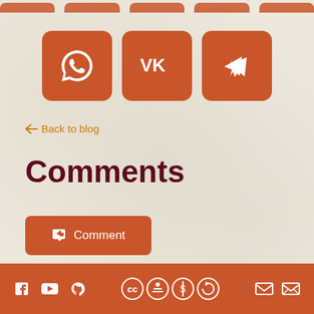[Figure (screenshot): Social sharing buttons row (partially visible at top): multiple orange rounded square buttons cut off at page top]
[Figure (screenshot): Three orange rounded square social sharing buttons: WhatsApp (speech bubble with phone icon), VK (VK text logo), Telegram (paper plane icon)]
← Back to blog
Comments
[Figure (screenshot): Orange rounded button with reply/share arrow icon and text 'Comment']
Footer with social icons: Facebook, YouTube, GitHub on left; Creative Commons license icons in center; email icons on right